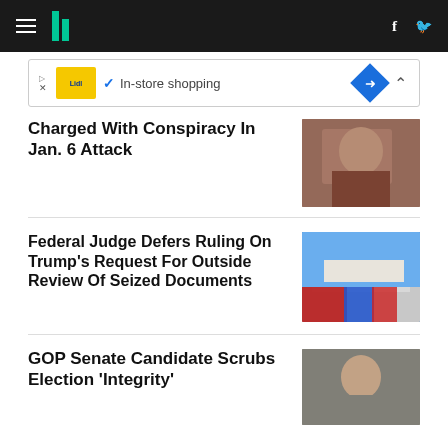HuffPost navigation bar
[Figure (other): Advertisement banner - Lidl in-store shopping]
Charged With Conspiracy In Jan. 6 Attack
[Figure (photo): Photo of a person related to Jan. 6 conspiracy charge]
Federal Judge Defers Ruling On Trump's Request For Outside Review Of Seized Documents
[Figure (photo): Photo of American flags and Trump flags outside a building]
GOP Senate Candidate Scrubs Election 'Integrity'